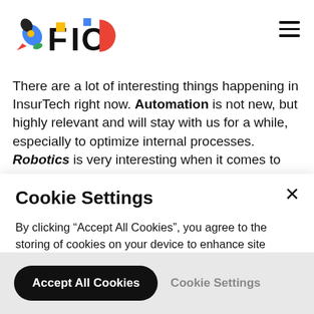[Figure (logo): FIO logo with colorful rocket icon and bold FIO text in black, with colored squares on letters]
There are a lot of interesting things happening in InsurTech right now. Automation is not new, but highly relevant and will stay with us for a while, especially to optimize internal processes. Robotics is very interesting when it comes to
Cookie Settings
By clicking “Accept All Cookies”, you agree to the storing of cookies on your device to enhance site navigation, analyze site usage and assist in our marketing efforts. More info
Accept All Cookies
Cookie Settings